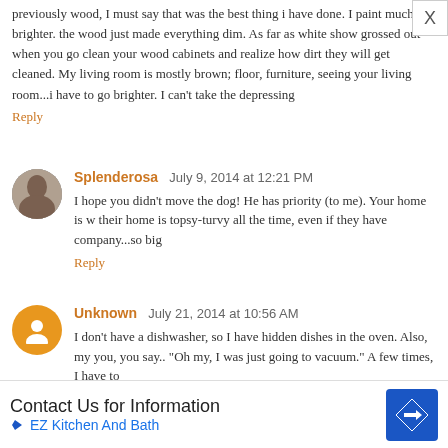previously wood, I must say that was the best thing i have done. I paint much brighter. the wood just made everything dim. As far as white show grossed out when you go clean your wood cabinets and realize how dirt they will get cleaned. My living room is mostly brown; floor, furniture, seeing your living room...i have to go brighter. I can't take the depressing
Reply
Splenderosa  July 9, 2014 at 12:21 PM
I hope you didn't move the dog! He has priority (to me). Your home is w their home is topsy-turvy all the time, even if they have company...so big
Reply
Unknown  July 21, 2014 at 10:56 AM
I don't have a dishwasher, so I have hidden dishes in the oven. Also, my you, you say.. "Oh my, I was just going to vacuum." A few times, I have to
Reply
Annie  August 17, 2014 at 5:53 PM
[Figure (screenshot): Advertisement banner: Contact Us for Information - EZ Kitchen And Bath with blue diamond arrow logo]